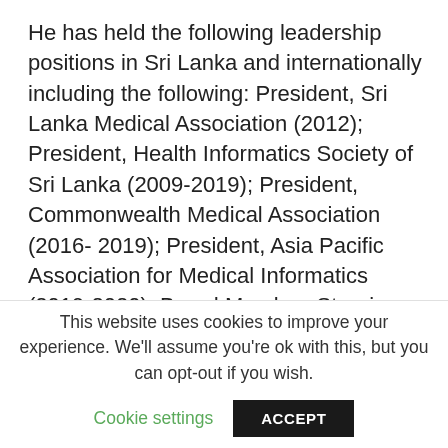He has held the following leadership positions in Sri Lanka and internationally including the following: President, Sri Lanka Medical Association (2012); President, Health Informatics Society of Sri Lanka (2009-2019); President, Commonwealth Medical Association (2016- 2019); President, Asia Pacific Association for Medical Informatics (2019-2020); Board Member, Steering Committee, Forum for Ethical Review Committees in Asia and the Western Pacific (since 2010); Chairperson, Commonwealth Centre for Digital Health (since 2018); Chairperson, Commonwealth Health Professions and Partners Alliance (2021-2022). He is the current President of
This website uses cookies to improve your experience. We'll assume you're ok with this, but you can opt-out if you wish.
Cookie settings   ACCEPT